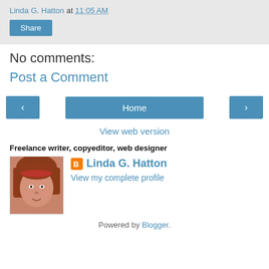Linda G. Hatton at 11:05 AM
Share
No comments:
Post a Comment
< Home >
View web version
Freelance writer, copyeditor, web designer
[Figure (photo): Profile photo of Linda G. Hatton, a woman with reddish hair]
Linda G. Hatton
View my complete profile
Powered by Blogger.